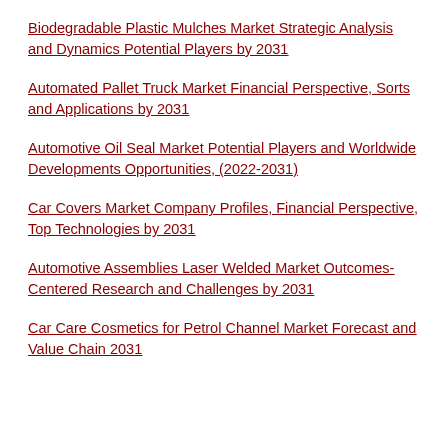Biodegradable Plastic Mulches Market Strategic Analysis and Dynamics Potential Players by 2031
Automated Pallet Truck Market Financial Perspective, Sorts and Applications by 2031
Automotive Oil Seal Market Potential Players and Worldwide Developments Opportunities, (2022-2031)
Car Covers Market Company Profiles, Financial Perspective, Top Technologies by 2031
Automotive Assemblies Laser Welded Market Outcomes-Centered Research and Challenges by 2031
Car Care Cosmetics for Petrol Channel Market Forecast and Value Chain 2031
...